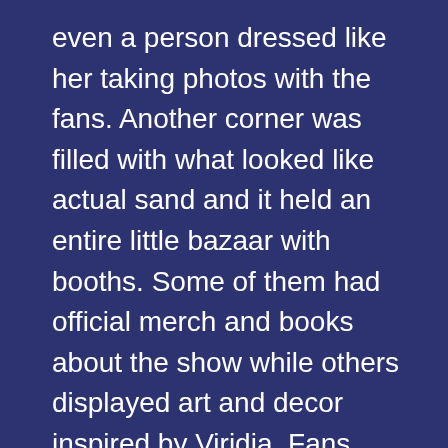even a person dressed like her taking photos with the fans. Another corner was filled with what looked like actual sand and it held an entire little bazaar with booths. Some of them had official merch and books about the show while others displayed art and decor inspired by Viridia. Fans could buy paintings of breathtaking Viridian landscapes and battle scenes, mugs and coasters with quotes from the show, and even 3D printed crossbows.
“Ahh! Look at that plushie, it’s the slimeheaded snail, so cute!” one of Melin’s